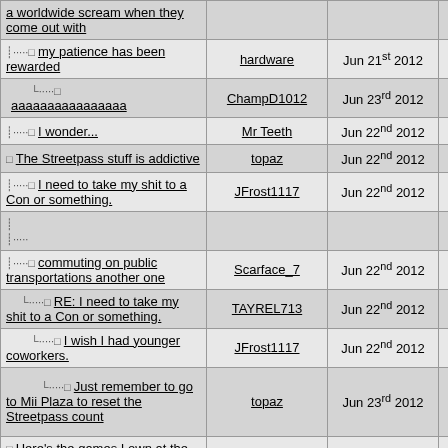| Title | Author | Date | # |
| --- | --- | --- | --- |
| a worldwide scream when they come out with |  |  |  |
| my patience has been rewarded | hardware | Jun 21st 2012 | 17 |
| aaaaaaaaaaaaaaaa | ChampD1012 | Jun 23rd 2012 | 29 |
| I wonder... | Mr Teeth | Jun 22nd 2012 | 26 |
| The Streetpass stuff is addictive | topaz | Jun 22nd 2012 | 20 |
| I need to take my shit to a Con or something. | JFrost1117 | Jun 22nd 2012 | 21 |
| (empty row) |  |  |  |
| commuting on public transportations another one | Scarface_7 | Jun 22nd 2012 | 24 |
| RE: I need to take my shit to a Con or something. | TAYREL713 | Jun 22nd 2012 | 27 |
| I wish I had younger coworkers. | JFrost1117 | Jun 22nd 2012 | 28 |
| Just remember to go to Mii Plaza to reset the Streetpass count | topaz | Jun 23rd 2012 | 30 |
| Here's the games I own at the moment... | Mr Teeth | Jun 22nd 2012 | 25 |